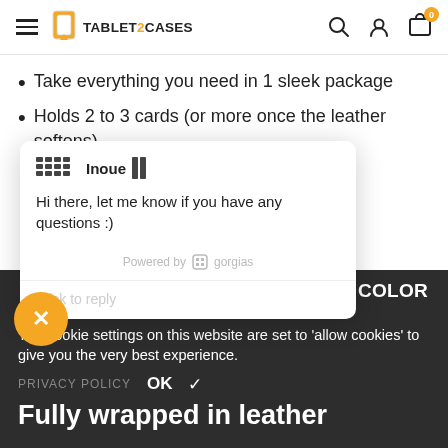TABLET2CASES — navigation header with hamburger, logo, search, account, cart (0)
Take everything you need in 1 sleek package
Holds 2 to 3 cards (or more once the leather softens)
lock key cards,
patina with use,
[Figure (screenshot): Chat widget overlay from Gorgias showing agent Inoue with message: Hi there, let me know if you have any questions :) and a 'Click to reply' input area. Powered by gorgias branding shown.]
U WANT NO COLOR
CHANGES
The cookie settings on this website are set to 'allow cookies' to give you the very best experience.
PRIVACY POLICY  OK ✓
Fully wrapped in leather